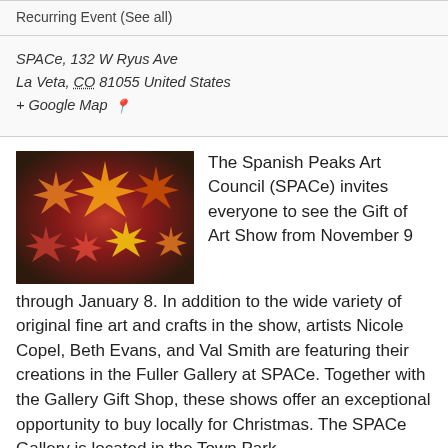Recurring Event (See all)
SPACe, 132 W Ryus Ave
La Veta, CO 81055 United States
+ Google Map
[Figure (photo): Colorful decorative star lanterns in warm orange, red, and gold hues, used as a decorative image for the Gift of Art Show event.]
The Spanish Peaks Art Council (SPACe) invites everyone to see the Gift of Art Show from November 9 through January 8. In addition to the wide variety of original fine art and crafts in the show, artists Nicole Copel, Beth Evans, and Val Smith are featuring their creations in the Fuller Gallery at SPACe. Together with the Gallery Gift Shop, these shows offer an exceptional opportunity to buy locally for Christmas. The SPACe Gallery is located in the Town Park…
Find out more »